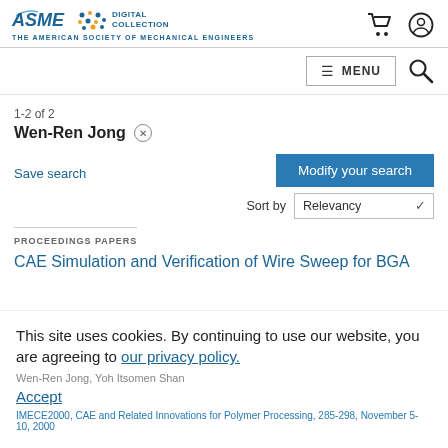ASME DIGITAL COLLECTION — THE AMERICAN SOCIETY OF MECHANICAL ENGINEERS
1-2 of 2
Wen-Ren Jong
Save search
Modify your search
Sort by Relevancy
PROCEEDINGS PAPERS
CAE Simulation and Verification of Wire Sweep for BGA
This site uses cookies. By continuing to use our website, you are agreeing to our privacy policy. Accept
IMECE2000, CAE and Related Innovations for Polymer Processing, 285-298, November 5-10, 2000